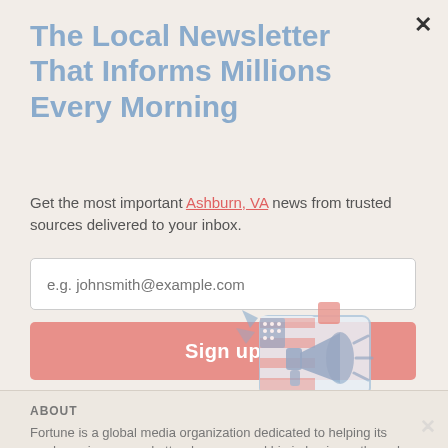The Local Newsletter That Informs Millions Every Morning
Get the most important Ashburn, VA news from trusted sources delivered to your inbox.
e.g. johnsmith@example.com
Sign up
[Figure (illustration): Illustration of a megaphone/loudspeaker with a US flag and speech bubble, in muted pink and blue tones]
ABOUT
Fortune is a global media organization dedicated to helping its readers, viewers, and attendees succeed big in business through unrivaled access and best-in-class...